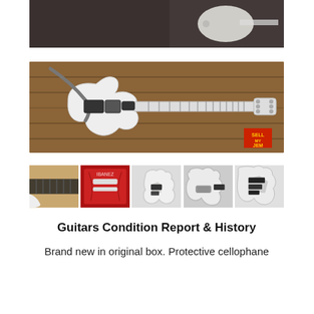[Figure (photo): Ibanez logo banner with person holding a white electric guitar on dark background]
[Figure (photo): White Ibanez JEM electric guitar lying on wooden plank surface with brown guitar strap; SELL MY JEM badge in bottom right corner]
[Figure (photo): Row of five thumbnail photos showing different detailed views of the white Ibanez JEM guitar including neck, red case interior, body front, and pickups]
Guitars Condition Report & History
Brand new in original box. Protective cellophane